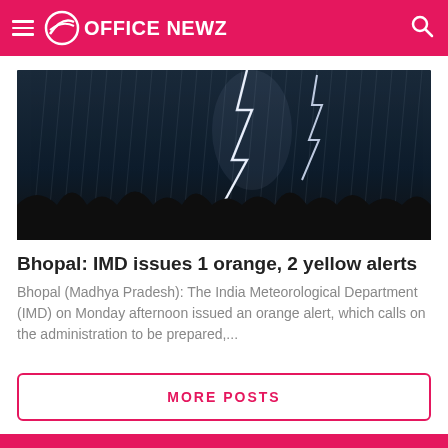OFFICE NEWZ
[Figure (photo): Dramatic storm photo showing lightning bolts striking through heavy rain over dark silhouetted trees at night]
Bhopal: IMD issues 1 orange, 2 yellow alerts
Bhopal (Madhya Pradesh): The India Meteorological Department (IMD) on Monday afternoon issued an orange alert, which calls on the administration to be prepared,...